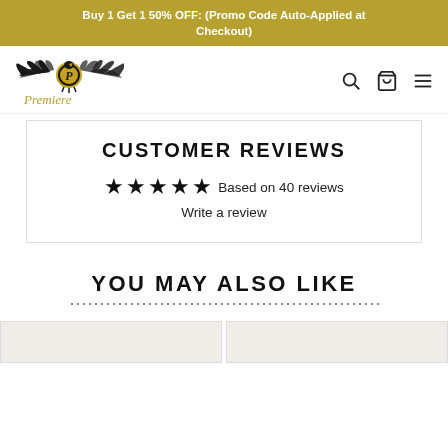Buy 1 Get 1 50% OFF: (Promo Code Auto-Applied at Checkout)
[Figure (logo): Premiere brand logo with eagle wings and gold 'P' medallion, italic script 'Premiere' below]
CUSTOMER REVIEWS
★★★★★ Based on 40 reviews
Write a review
YOU MAY ALSO LIKE